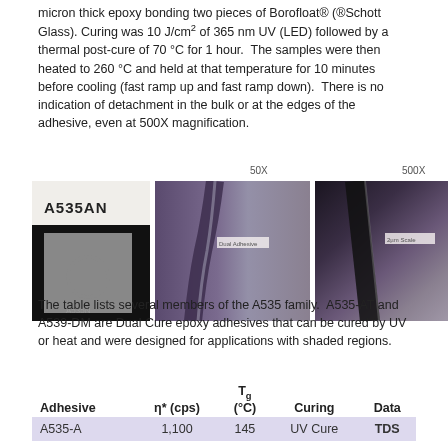micron thick epoxy bonding two pieces of Borofloat® (®Schott Glass). Curing was 10 J/cm² of 365 nm UV (LED) followed by a thermal post-cure of 70 °C for 1 hour. The samples were then heated to 260 °C and held at that temperature for 10 minutes before cooling (fast ramp up and fast ramp down). There is no indication of detachment in the bulk or at the edges of the adhesive, even at 500X magnification.
[Figure (photo): Three microscopy images of epoxy bonded Borofloat glass samples. Left: photo of the bonded sample labeled A535AN. Center: 50X magnification microscopy image showing the bonded interface with slight curvature. Right: 500X magnification microscopy image showing the bonded edge detail.]
The table lists several members of the A535 family. A535-AT and A539-DM are Dual Cure epoxy adhesives that can be cured by UV or heat and were designed for applications with shaded regions.
| Adhesive | η* (cps) | Tg (°C) | Curing | Data |
| --- | --- | --- | --- | --- |
| A535-A | 1,100 | 145 | UV Cure | TDS |